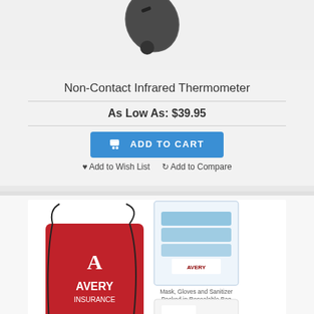[Figure (photo): Non-contact infrared thermometer product image on light gray background]
Non-Contact Infrared Thermometer
As Low As: $39.95
ADD TO CART
Add to Wish List  Add to Compare
[Figure (photo): Avery Insurance branded PPE kit including red drawstring bag with Avery Insurance logo, face mask, gloves, hand sanitizer bottle, and resealable bag with masks and gloves]